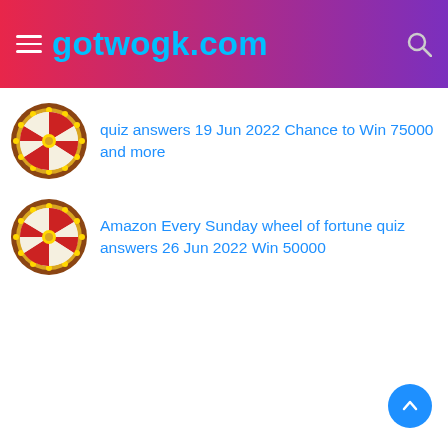gotwogk.com
quiz answers 19 Jun 2022 Chance to Win 75000 and more
Amazon Every Sunday wheel of fortune quiz answers 26 Jun 2022 Win 50000